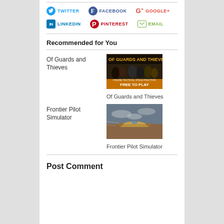TWITTER
FACEBOOK
GOOGLE+
LINKEDIN
PINTEREST
EMAIL
Recommended for You
Of Guards and Thieves
[Figure (screenshot): Game artwork for 'Of Guards and Thieves' showing cartoon characters with text 'FREE TO PLAY' and 'ONLINE TACTICAL STEALTHACTION']
Of Guards and Thieves
Frontier Pilot Simulator
[Figure (screenshot): Game art for 'Frontier Pilot Simulator' showing a futuristic aircraft flying in cloudy sky]
Frontier Pilot Simulator
Post Comment